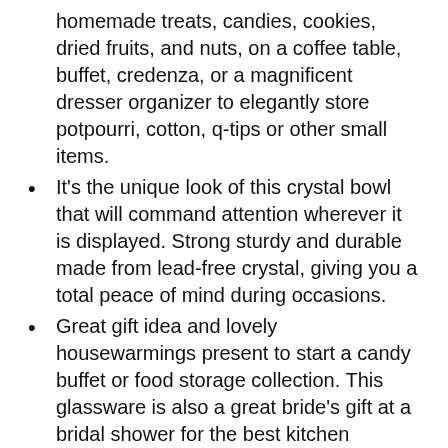homemade treats, candies, cookies, dried fruits, and nuts, on a coffee table, buffet, credenza, or a magnificent dresser organizer to elegantly store potpourri, cotton, q-tips or other small items.
It's the unique look of this crystal bowl that will command attention wherever it is displayed. Strong sturdy and durable made from lead-free crystal, giving you a total peace of mind during occasions.
Great gift idea and lovely housewarmings present to start a candy buffet or food storage collection. This glassware is also a great bride's gift at a bridal shower for the best kitchen accessories ideas. Its timeless design will surely make your friends treasure this new collection.
Product details - dimensions: 5.5"W x 5.5"D x 4"H. Purposely made ergonomic for easy